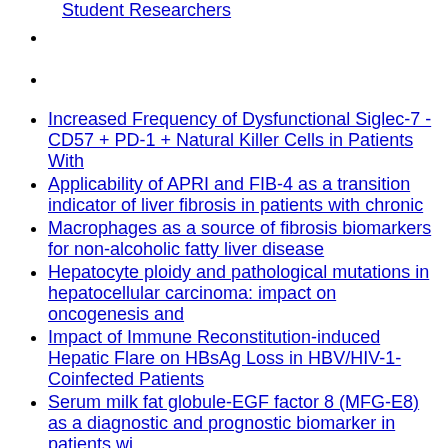Student Researchers
Increased Frequency of Dysfunctional Siglec-7 - CD57 + PD-1 + Natural Killer Cells in Patients With
Applicability of APRI and FIB-4 as a transition indicator of liver fibrosis in patients with chronic
Macrophages as a source of fibrosis biomarkers for non-alcoholic fatty liver disease
Hepatocyte ploidy and pathological mutations in hepatocellular carcinoma: impact on oncogenesis and
Impact of Immune Reconstitution-induced Hepatic Flare on HBsAg Loss in HBV/HIV-1-Coinfected Patients
Serum milk fat globule-EGF factor 8 (MFG-E8) as a diagnostic and prognostic biomarker in patients wi
A novel Ancestral Beijing sublineage of Mycobacterium tuberculosis suggests the transition site to M
The association of integration patterns of human papilloma virus and single nucleotide polymorphisms
Identification of HLA-DRB1*04:10 allele as risk allele for Japanese moyamoya disease and its associa
[garbled text]
Genome-wide association study confirming the association